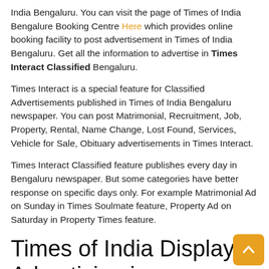India Bengaluru. You can visit the page of Times of India Bengalure Booking Centre Here which provides online booking facility to post advertisement in Times of India Bengaluru. Get all the information to advertise in Times Interact Classified Bengaluru.
Times Interact is a special feature for Classified Advertisements published in Times of India Bengaluru newspaper. You can post Matrimonial, Recruitment, Job, Property, Rental, Name Change, Lost Found, Services, Vehicle for Sale, Obituary advertisements in Times Interact.
Times Interact Classified feature publishes every day in Bengaluru newspaper. But some categories have better response on specific days only. For example Matrimonial Ad on Sunday in Times Soulmate feature, Property Ad on Saturday in Property Times feature.
Times of India Display Advertising in Bengaluru.
Display Ads are the commercial ads which you see on various Pages in Times of India Bengaluru. This ads are charged per